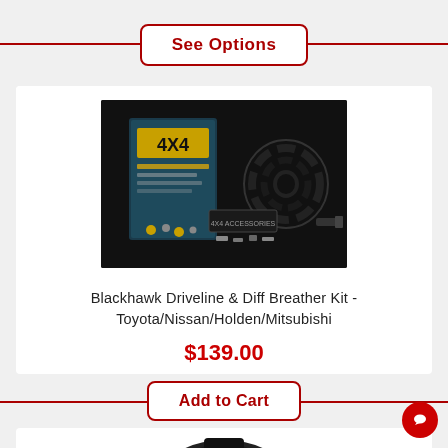See Options
[Figure (photo): Blackhawk Driveline & Diff Breather Kit product photo showing packaging box and kit components (coiled hose, fittings, hardware) on dark background]
Blackhawk Driveline & Diff Breather Kit - Toyota/Nissan/Holden/Mitsubishi
$139.00
Add to Cart